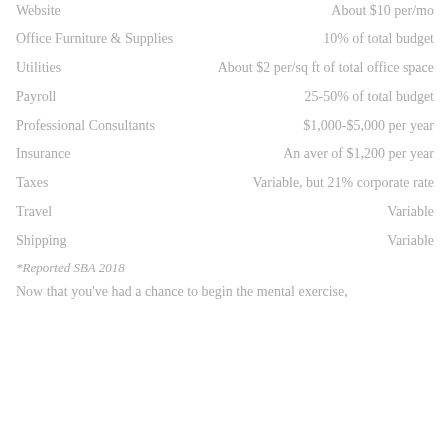| Item | Cost |
| --- | --- |
| Website | About $10 per/mo |
| Office Furniture & Supplies | 10% of total budget |
| Utilities | About $2 per/sq ft of total office space |
| Payroll | 25-50% of total budget |
| Professional Consultants | $1,000-$5,000 per year |
| Insurance | An aver of $1,200 per year |
| Taxes | Variable, but 21% corporate rate |
| Travel | Variable |
| Shipping | Variable |
*Reported SBA 2018
Now that you've had a chance to begin the mental exercise,